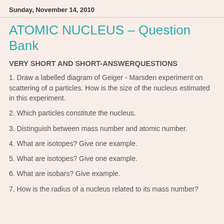Sunday, November 14, 2010
ATOMIC NUCLEUS – Question Bank
VERY SHORT AND SHORT-ANSWERQUESTIONS
1. Draw a labelled diagram of Geiger - Marsden experiment on scattering of α particles. How is the size of the nucleus estimated in this experiment.
2. Which particles constitute the nucleus.
3. Distinguish between mass number and atomic number.
4. What are isotopes? Give one example.
5. What are isotopes? Give one example.
6. What are isobars? Give example.
7. How is the radius of a nucleus related to its mass number?